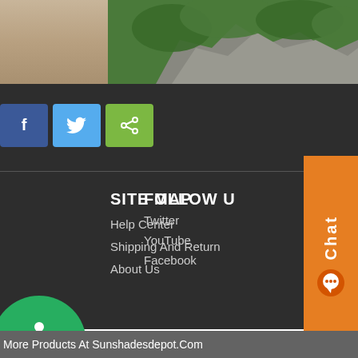[Figure (photo): Partial view of an outdoor scene: beige wall on the left, rocky stone formation and green foliage on the right]
[Figure (infographic): Three social share buttons: Facebook (blue with f icon), Twitter (light blue with bird icon), Share (green with share icon)]
[Figure (infographic): Orange vertical chat widget on the right side with 'Chat' text rotated and a chat bubble icon]
SITE MAP
Help Center
Shipping And Return
About Us
FOLLOW U
Twitter
YouTube
Facebook
[Figure (infographic): Green circle accessibility button with wheelchair user icon]
More Products At Sunshadesdepot.Com